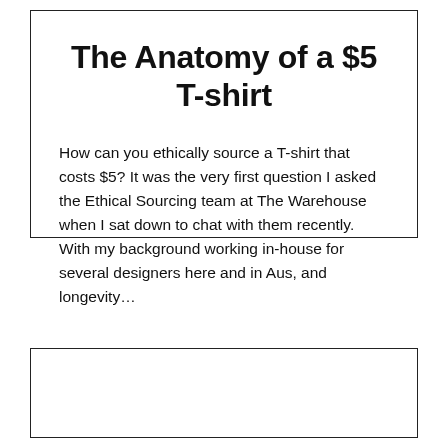The Anatomy of a $5 T-shirt
How can you ethically source a T-shirt that costs $5? It was the very first question I asked the Ethical Sourcing team at The Warehouse when I sat down to chat with them recently. With my background working in-house for several designers here and in Aus, and longevity…